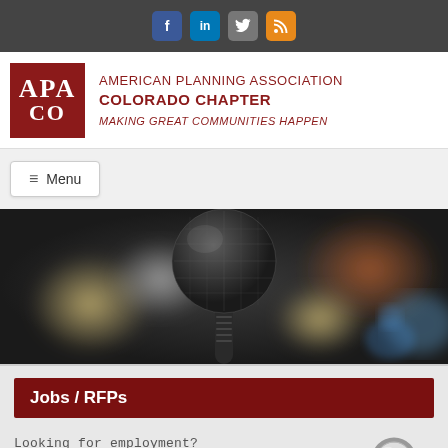[Figure (screenshot): Social media icons bar at top: Facebook, LinkedIn, Twitter, RSS]
[Figure (logo): APA CO logo — red box with white text APA over CO]
AMERICAN PLANNING ASSOCIATION COLORADO CHAPTER
MAKING GREAT COMMUNITIES HAPPEN
Menu
[Figure (photo): Close-up photo of a microphone with blurred audience and stage lights in the background]
Jobs / RFPs
Looking for employment? Click to see positions currently available.
[Figure (illustration): Magnifying glass icon]